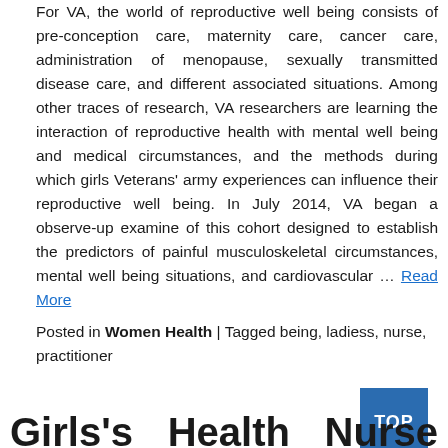For VA, the world of reproductive well being consists of pre-conception care, maternity care, cancer care, administration of menopause, sexually transmitted disease care, and different associated situations. Among other traces of research, VA researchers are learning the interaction of reproductive health with mental well being and medical circumstances, and the methods during which girls Veterans' army experiences can influence their reproductive well being. In July 2014, VA began a observe-up examine of this cohort designed to establish the predictors of painful musculoskeletal circumstances, mental well being situations, and cardiovascular … Read More
Posted in Women Health | Tagged being, ladiess, nurse, practitioner
Girls's   Health   Nurse